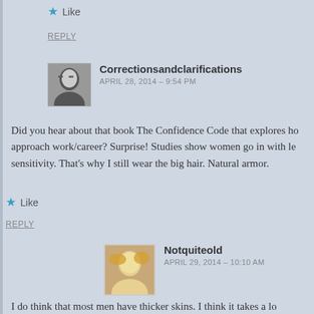★ Like
REPLY
[Figure (photo): Black and white avatar photo of Correctionsandclarifications commenter, a woman with glasses]
Correctionsandclarifications
APRIL 28, 2014 – 9:54 PM
Did you hear about that book The Confidence Code that explores ho approach work/career? Surprise! Studies show women go in with le sensitivity. That's why I still wear the big hair. Natural armor.
★ Like
REPLY
[Figure (photo): Color avatar photo of Notquiteold commenter, a woman with blonde hair]
Notquiteold
APRIL 29, 2014 – 10:10 AM
I do think that most men have thicker skins. I think it takes a lo confidence. Because they tend to think "It's them, not me." I w